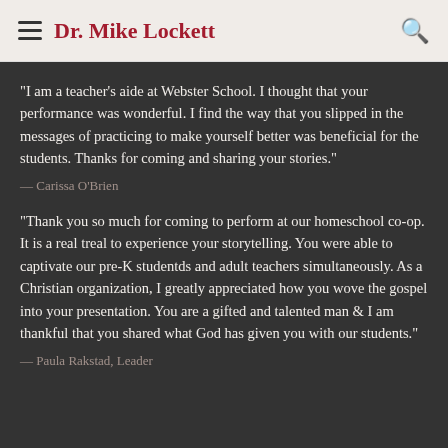Dr. Mike Lockett
"I am a teacher's aide at Webster School. I thought that your performance was wonderful. I find the way that you slipped in the messages of practicing to make yourself better was beneficial for the students. Thanks for coming and sharing your stories."
— Carissa O'Brien
"Thank you so much for coming to perform at our homeschool co-op. It is a real treal to experience your storytelling. You were able to captivate our pre-K studentds and adult teachers simultaneously. As a Christian organization, I greatly appreciated how you wove the gospel into your presentation. You are a gifted and talented man & I am thankful that you shared what God has given you with our students."
— Paula Rakstad, Leader